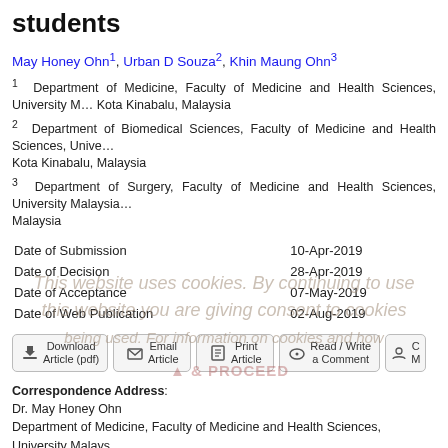students
May Honey Ohn1, Urban D Souza2, Khin Maung Ohn3
1 Department of Medicine, Faculty of Medicine and Health Sciences, University Malaysia Sabah, Kota Kinabalu, Malaysia
2 Department of Biomedical Sciences, Faculty of Medicine and Health Sciences, University Malaysia Sabah, Kota Kinabalu, Malaysia
3 Department of Surgery, Faculty of Medicine and Health Sciences, University Malaysia Sabah, Kota Kinabalu, Malaysia
| Date of Submission | 10-Apr-2019 |
| Date of Decision | 28-Apr-2019 |
| Date of Acceptance | 07-May-2019 |
| Date of Web Publication | 02-Aug-2019 |
Correspondence Address:
Dr. May Honey Ohn
Department of Medicine, Faculty of Medicine and Health Sciences, University Malaysia Sabah, 88400 Kota Kinabalu, Sabah
Malaysia
Login to access the email ID
Source of Support: None, Conflict of Interest: None